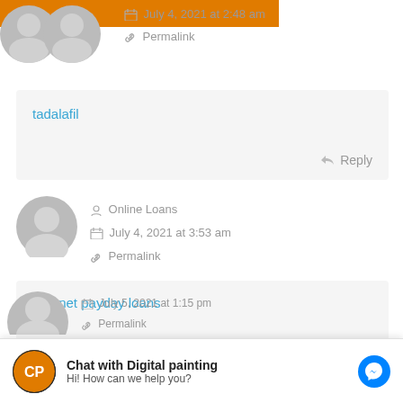July 4, 2021 at 2:48 am
Permalink
tadalafil
Reply
Online Loans
July 4, 2021 at 3:53 am
Permalink
internet payday loans
Reply
Chat with Digital painting
Hi! How can we help you?
July 5, 2021 at 1:15 pm
Permalink